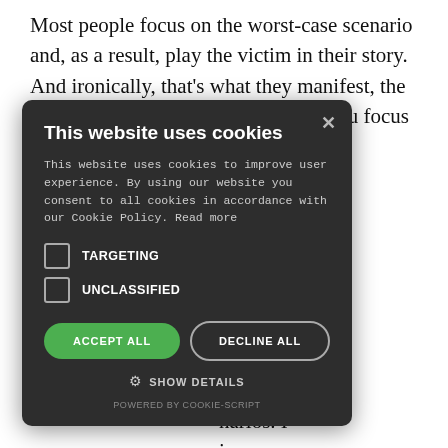Most people focus on the worst-case scenario and, as a result, play the victim in their story. And ironically, that's what they manifest, the worst-case scenario. Because what you focus on, you will [ow you] [right now?] [, and how] [ur heart,] [laying out.] [narios. I] [in your]
[Figure (screenshot): Cookie consent modal overlay on a dark background (#2d2d2d). Contains title 'This website uses cookies', body text about cookies and Cookie Policy, two unchecked checkboxes labeled TARGETING and UNCLASSIFIED, two buttons (ACCEPT ALL in green and DECLINE ALL in outline style), a SHOW DETAILS option with gear icon, and a 'POWERED BY COOKIE-SCRIPT' footer. An X close button appears in the top right of the modal.]